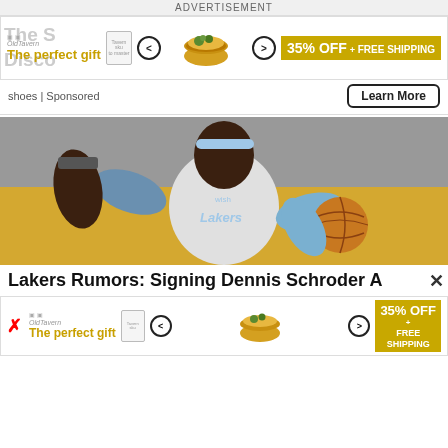ADVERTISEMENT
[Figure (infographic): Advertisement banner: 'The perfect gift' with food bowl, navigation arrows, and '35% OFF + FREE SHIPPING' gold box]
shoes | Sponsored
Learn More
[Figure (photo): NBA basketball player wearing a Lakers jersey and light blue headband, holding a basketball and pointing with left hand raised]
Lakers Rumors: Signing Dennis Schroder A
[Figure (infographic): Bottom advertisement banner: 'The perfect gift' with food bowl, navigation arrows, and '35% OFF + FREE SHIPPING' gold box]